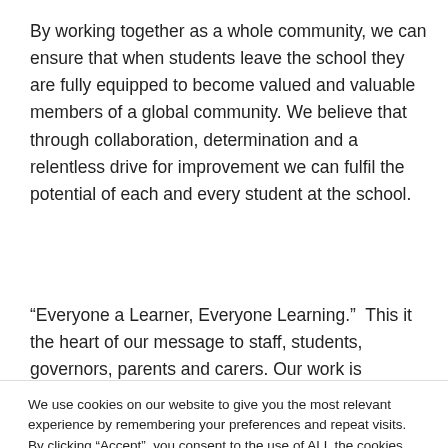By working together as a whole community, we can ensure that when students leave the school they are fully equipped to become valued and valuable members of a global community. We believe that through collaboration, determination and a relentless drive for improvement we can fulfil the potential of each and every student at the school.
“Everyone a Learner, Everyone Learning.”  This it the heart of our message to staff, students, governors, parents and carers. Our work is focussed on ensuring this for all
We use cookies on our website to give you the most relevant experience by remembering your preferences and repeat visits. By clicking “Accept”, you consent to the use of ALL the cookies.
Cookie settings
ACCEPT